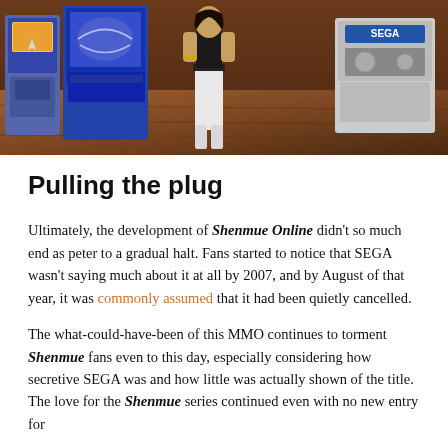[Figure (photo): Screenshot from Shenmue Online showing a female character in white pants and black top standing among arcade machines in a room with wooden floors, including a SEGA branded machine on the right]
Pulling the plug
Ultimately, the development of Shenmue Online didn't so much end as peter to a gradual halt. Fans started to notice that SEGA wasn't saying much about it at all by 2007, and by August of that year, it was commonly assumed that it had been quietly cancelled.
The what-could-have-been of this MMO continues to torment Shenmue fans even to this day, especially considering how secretive SEGA was and how little was actually shown of the title. The love for the Shenmue series continued even with no new entry for